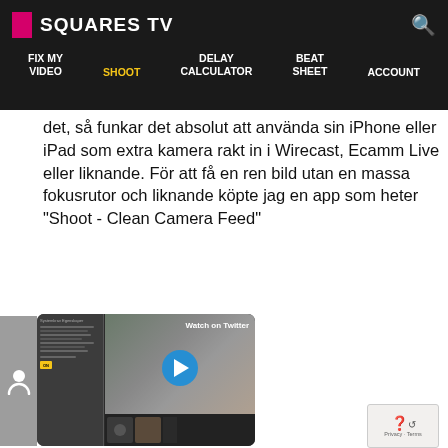SQUARES TV — Navigation: FIX MY VIDEO | SHOOT | DELAY CALCULATOR | BEAT SHEET | ACCOUNT
det, så funkar det absolut att använda sin iPhone eller iPad som extra kamera rakt in i Wirecast, Ecamm Live eller liknande. För att få en ren bild utan en massa fokusrutor och liknande köpte jag en app som heter "Shoot - Clean Camera Feed"
[Figure (screenshot): Screenshot of a video player embedded on a webpage showing a person speaking, with a sidebar panel on the left showing settings/properties. A blue circular play button is overlaid in the center. A 'Watch on Twitter' label appears in the top right. Thumbnail strip visible at the bottom.]